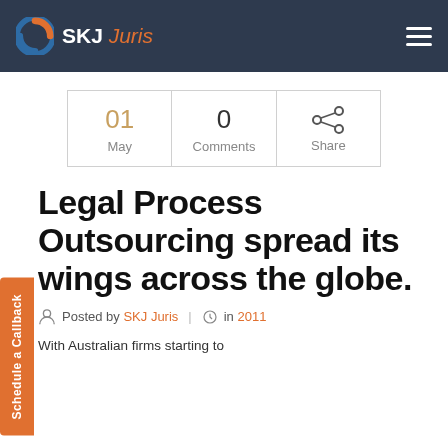SKJ Juris
| Date | Comments | Share |
| --- | --- | --- |
| 01
May | 0
Comments | Share |
Legal Process Outsourcing spread its wings across the globe.
Posted by SKJ Juris | in 2011
With Australian firms starting to